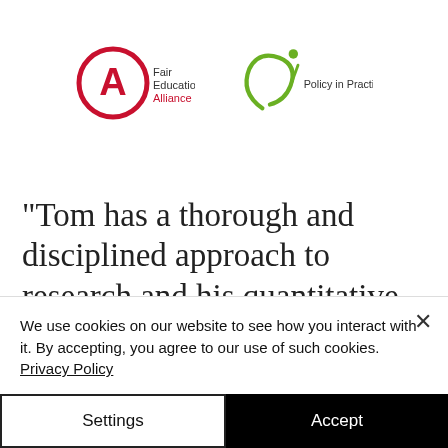[Figure (logo): Fair Education Alliance logo — red circle with letter A, text 'Fair Education Alliance']
[Figure (logo): Policy in Practice logo — green swoosh figure with dot, text 'Policy in Practice']
"Tom has a thorough and disciplined approach to research and his quantitative analysis and
We use cookies on our website to see how you interact with it. By accepting, you agree to our use of such cookies. Privacy Policy
Settings
Accept